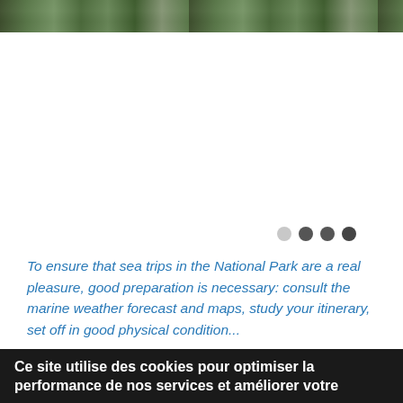[Figure (photo): Horizontal photo strip at top of page showing a forested or natural park scene]
To ensure that sea trips in the National Park are a real pleasure, good preparation is necessary: consult the marine weather forecast and maps, study your itinerary, set off in good physical condition...
Before you leave
Ce site utilise des cookies pour optimiser la performance de nos services et améliorer votre